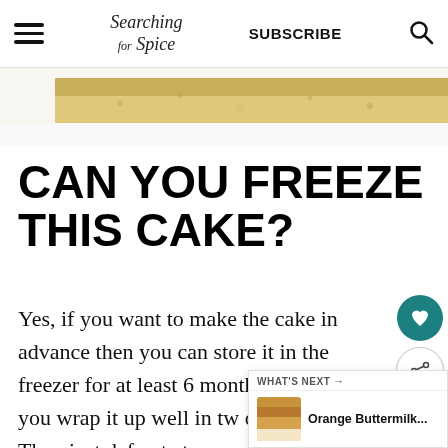Searching for Spice | SUBSCRIBE
[Figure (photo): Close-up photo of a slice of cake on a white plate, showing golden crumb texture]
CAN YOU FREEZE THIS CAKE?
Yes, if you want to make the cake in advance then you can store it in the freezer for at least 6 months. Make sure you wrap it up well in tw... of cling film. Then just defrost at